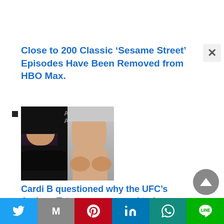Close to 200 Classic ‘Sesame Street’ Episodes Have Been Removed from HBO Max.
[Figure (photo): Side-by-side photo of a woman (Cardi B) on the left with long black hair and black dress, and a shirtless man (Andrew Tate) on the right, with a partial arena sign visible between them.]
Cardi B questioned why the UFC’s Andrew Tate was compared to her.
Twitter | Gmail | Pinterest | LinkedIn | WhatsApp | Line